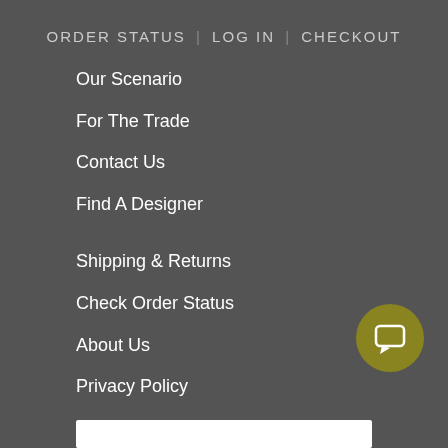ORDER STATUS | LOG IN | CHECKOUT
Our Scenario
For The Trade
Contact Us
Find A Designer
Shipping & Returns
Check Order Status
About Us
Privacy Policy
Easy Financing Option
Terms Of Service
ARE YOU ON THE LIST?
[Figure (other): Circular chat button icon with speech bubble]
[Figure (other): White input bar at bottom of page]